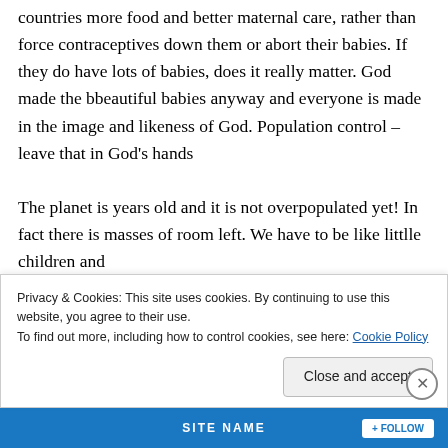countries more food and better maternal care, rather than force contraceptives down them or abort their babies. If they do have lots of babies, does it really matter. God made the bbeautiful babies anyway and everyone is made in the image and likeness of God. Population control – leave that in God's hands
The planet is years old and it is not overpopulated yet! In fact there is masses of room left. We have to be like littlle children and
Privacy & Cookies: This site uses cookies. By continuing to use this website, you agree to their use.
To find out more, including how to control cookies, see here: Cookie Policy